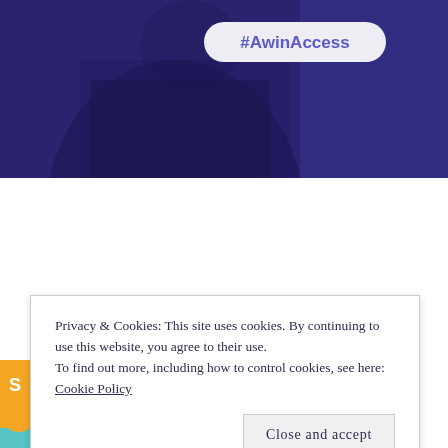[Figure (photo): Dark blue/purple toned photo of a person in a suit, with a rounded pill-shaped label reading '#AwinAccess' overlaid near the top center.]
Privacy & Cookies: This site uses cookies. By continuing to use this website, you agree to their use.
To find out more, including how to control cookies, see here: Cookie Policy
Close and accept
[Figure (other): Teal/turquoise banner at the bottom left showing 'UP TO 40%' in large bold orange text. A small orange strip is visible on the far left side.]